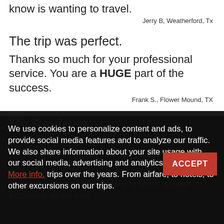know is wanting to travel.
Jerry B, Weatherford, Tx
The trip was perfect.
Thanks so much for your professional service. You are a HUGE part of the success.
Frank S., Flower Mound, TX
My Reviews
15 of 22 people found this review helpful
We use cookies to personalize content and ads, to provide social media features and to analyze our traffic. We also share information about your site usage with our social media, advertising and analytics partners. More info.
ACCEPT
trips over the years. From airfare, to hotels, to other excursions on our trips.